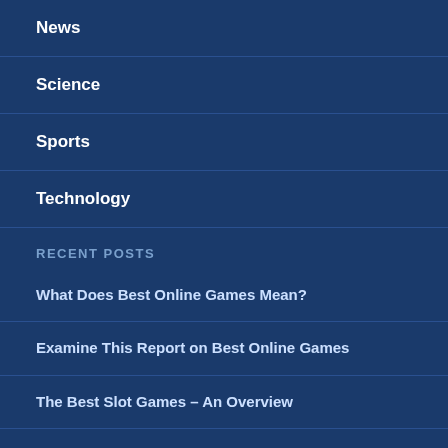News
Science
Sports
Technology
RECENT POSTS
What Does Best Online Games Mean?
Examine This Report on Best Online Games
The Best Slot Games – An Overview
How The Best Slot Games can Save You Time, Stress, and Money.